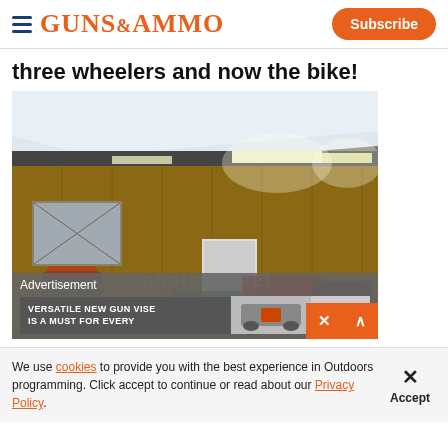GUNS&AMMO | Subscribe
three wheelers and now the bike!
[Figure (photo): Indoor garage/workshop photo showing motorcycles, ATVs, and other vehicles parked inside a wood-paneled building with fluorescent lighting. Photobucket watermark visible.]
We use cookies to provide you with the best experience in Outdoors programming. Click accept to continue or read about our Privacy Policy.